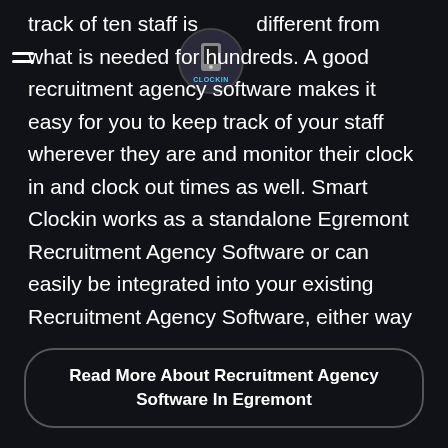because the energy and effort required to keep track of ten staff is vastly different from what is needed for hundreds. A good recruitment agency software makes it easy for you to keep track of your staff wherever they are and monitor their clock in and clock out times as well. Smart Clockin works as a standalone Egremont Recruitment Agency Software or can easily be integrated into your existing Recruitment Agency Software, either way to drastically reduce paperwork and unnecessary inputting of data.
[Figure (logo): Clockin app logo - circular icon with phone graphic and CLOCKIN text]
Read More About Recruitment Agency Software In Egremont